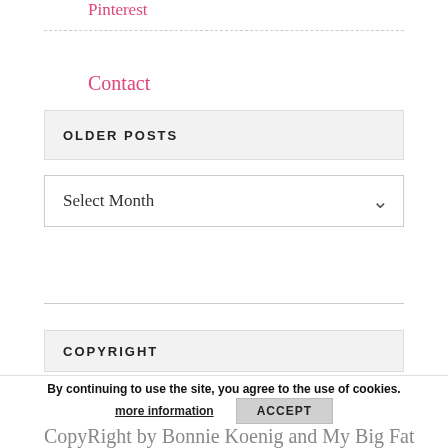Pinterest
Contact
OLDER POSTS
Select Month
COPYRIGHT
By continuing to use the site, you agree to the use of cookies.
more information
ACCEPT
All content on this site is protected by CopyRight by Bonnie Koenig and My Big Fat Orange Cat